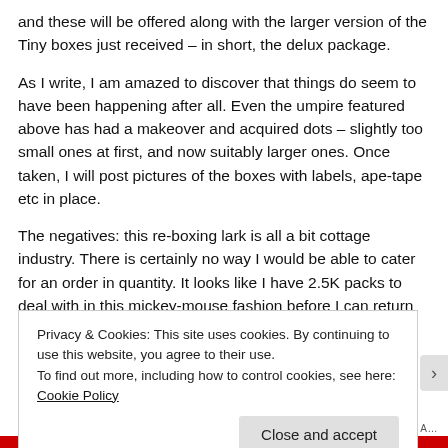and these will be offered along with the larger version of the Tiny boxes just received – in short, the delux package.
As I write, I am amazed to discover that things do seem to have been happening after all. Even the umpire featured above has had a makeover and acquired dots – slightly too small ones at first, and now suitably larger ones. Once taken, I will post pictures of the boxes with labels, ape-tape etc in place.
The negatives: this re-boxing lark is all a bit cottage industry. There is certainly no way I would be able to cater for an order in quantity. It looks like I have 2.5K packs to deal with in this mickey-mouse fashion before I can return to normal runs of
Privacy & Cookies: This site uses cookies. By continuing to use this website, you agree to their use.
To find out more, including how to control cookies, see here: Cookie Policy
Close and accept